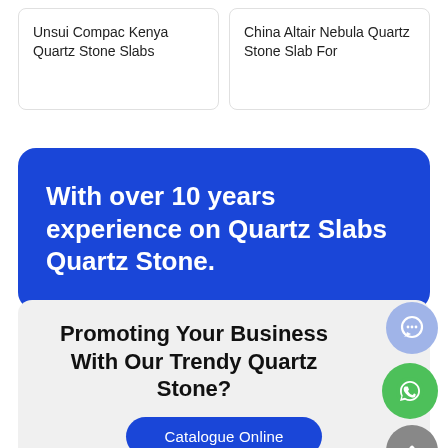Unsui Compac Kenya Quartz Stone Slabs
China Altair Nebula Quartz Stone Slab For
With over 10 years experience on Quartz Slabs Quartz Stone.
Promoting Your Business With Our Trendy Quartz Stone?
Catalogue Online